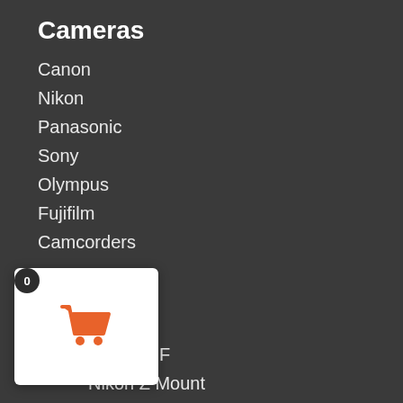Cameras
Canon
Nikon
Panasonic
Sony
Olympus
Fujifilm
Camcorders
Lenses
Canon EF
Canon RF
Nikon Z Mount
Sony E and FE Mounts
Micro Four Thirds
Panasonic L Mount
[Figure (illustration): Shopping cart popup icon with white background card and orange cart icon, showing badge with 0]